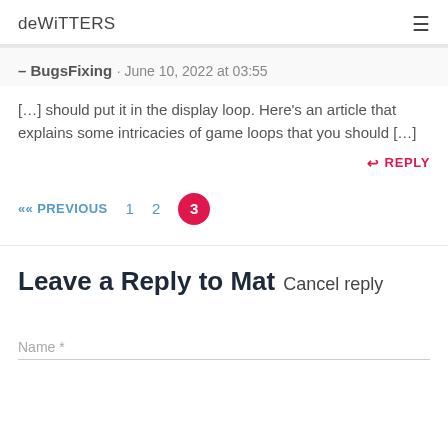deWiTTERS
– BugsFixing · June 10, 2022 at 03:55
[…] should put it in the display loop. Here's an article that explains some intricacies of game loops that you should […]
REPLY
«« PREVIOUS  1  2  3
Leave a Reply to Mat Cancel reply
Name *